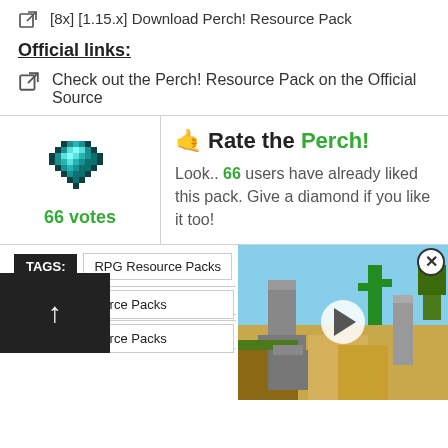[8x] [1.15.x] Download Perch! Resource Pack
Official links:
Check out the Perch! Resource Pack on the Official Source
[Figure (infographic): Diamond gem pixel art with 66 votes in green text, and a Rate the Perch! call to action with 66 green users count]
Rate the Perch! Look.. 66 users have already liked this pack. Give a diamond if you like it too!
TAGS: RPG Resource Packs
Minecraft 1.19.1 Resource Packs
Minecraft 1.18.2 Resource Packs
Minecraft 1.18 Resource Packs
Minecraft 1.17.1 Resource Packs
Minecraft 1.17 Resource Packs
Minecraft 1.16.5 Resource Packs
[Figure (screenshot): Minecraft game screenshot showing pixel art landscape with cactus and stone structures, with a play button overlay]